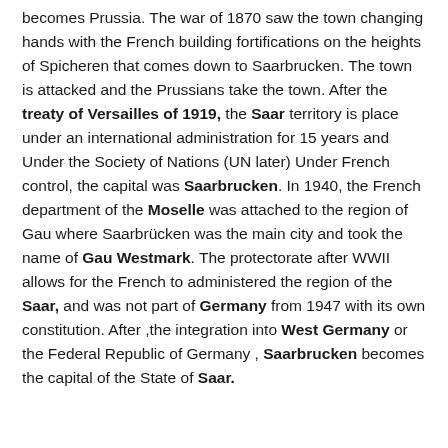becomes Prussia. The war of 1870 saw the town changing hands with the French building fortifications on the heights of Spicheren that comes down to Saarbrucken. The town is attacked and the Prussians take the town. After the treaty of Versailles of 1919, the Saar territory is place under an international administration for 15 years and Under the Society of Nations (UN later) Under French control, the capital was Saarbrucken. In 1940, the French department of the Moselle was attached to the region of Gau where Saarbrücken was the main city and took the name of Gau Westmark. The protectorate after WWII allows for the French to administered the region of the Saar, and was not part of Germany from 1947 with its own constitution. After ,the integration into West Germany or the Federal Republic of Germany , Saarbrucken becomes the capital of the State of Saar.